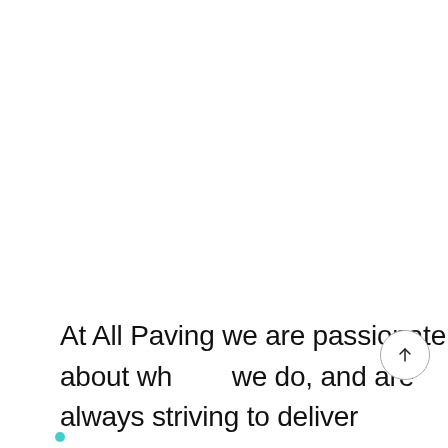At All Paving we are passionate about what we do, and are always striving to deliver